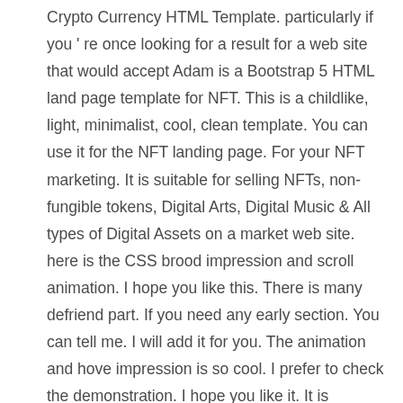Crypto Currency HTML Template. particularly if you ' re once looking for a result for a web site that would accept Adam is a Bootstrap 5 HTML land page template for NFT. This is a childlike, light, minimalist, cool, clean template. You can use it for the NFT landing page. For your NFT marketing. It is suitable for selling NFTs, non-fungible tokens, Digital Arts, Digital Music & All types of Digital Assets on a market web site. here is the CSS brood impression and scroll animation. I hope you like this. There is many defriend part. If you need any early section. You can tell me. I will add it for you. The animation and hove impression is so cool. I prefer to check the demonstration. I hope you like it. It is responsive on all devices. Like a mobile telephone, pill, laptop, macintosh, desktop, etc. Users will love your web site because it gives a alone exploiter experience with a dim-witted, light, minimalist, cool, clean invention. hera is besides faint and dark temper. I attached a documentation booklet. It helps you to live on this site.Key feature : NFT – marketplace is specially designed for the NFTs which allows you to sells and buy digital items on